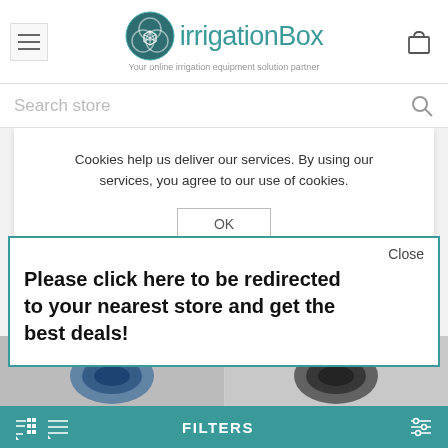[Figure (logo): irrigationBox logo with teal circular icon and text 'irrigationBox - Your online irrigation equipment solution partner']
Search store
By using raw materials that meet or exceed our strict specifications coupled with manu...llows us to produc...
Cookies help us deliver our services. By using our services, you agree to our use of cookies.
OK
Close
Please click here to be redirected to your nearest store and get the best deals!
We are m...e
Australian...
ever chan...
-10%
FILTERS